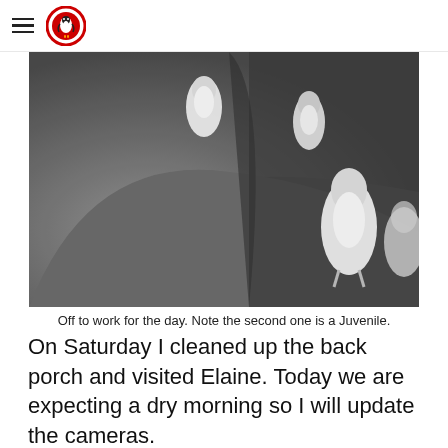[Figure (photo): Black and white night-vision camera image of penguins walking along a hillside path near vegetation. Three penguins are visible, one appears to be a juvenile.]
Off to work for the day. Note the second one is a Juvenile.
On Saturday I cleaned up the back porch and visited Elaine. Today we are expecting a dry morning so I will update the cameras.